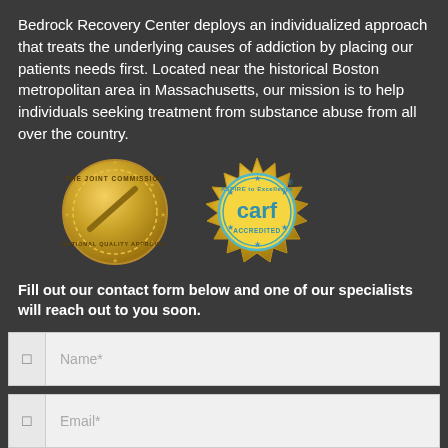Bedrock Recovery Center deploys an individualized approach that treats the underlying causes of addiction by placing our patients needs first. Located near the historical Boston metropolitan area in Massachusetts, our mission is to help individuals seeking treatment from substance abuse from all over the country.
[Figure (logo): Two accreditation badges side by side: The Joint Commission National Quality Approval gold seal medallion (left) and CARF Accredited Aspire to Excellence gold star seal (right).]
Fill out our contact form below and one of our specialists will reach out to you soon.
Name*
Email*
Telephone*